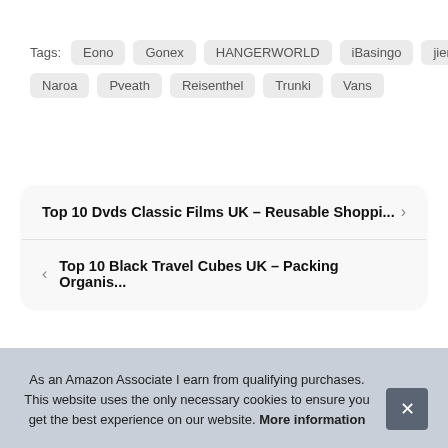Tags: Eono Gonex HANGERWORLD iBasingo jiemei Naroa Pveath Reisenthel Trunki Vans
Top 10 Dvds Classic Films UK – Reusable Shoppi...
Top 10 Black Travel Cubes UK – Packing Organis...
As an Amazon Associate I earn from qualifying purchases. This website uses the only necessary cookies to ensure you get the best experience on our website. More information